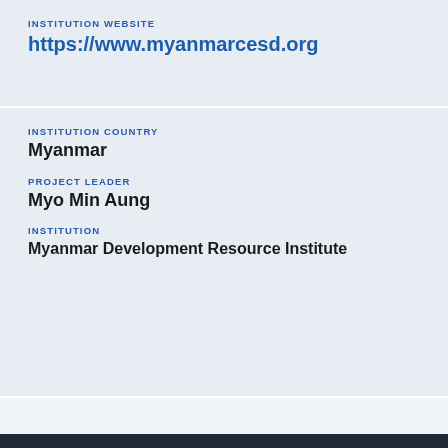INSTITUTION WEBSITE
https://www.myanmarcesd.org
INSTITUTION COUNTRY
Myanmar
PROJECT LEADER
Myo Min Aung
INSTITUTION
Myanmar Development Resource Institute